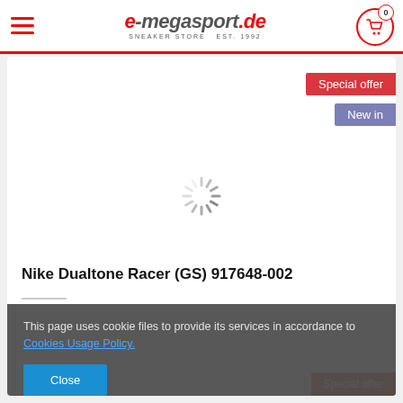e-megasport.de — SNEAKER STORE EST. 1992
[Figure (screenshot): Product image loading spinner (white background with grey animated spinner icon)]
Special offer
New in
Nike Dualtone Racer (GS) 917648-002
This page uses cookie files to provide its services in accordance to Cookies Usage Policy.
Close
Special offer